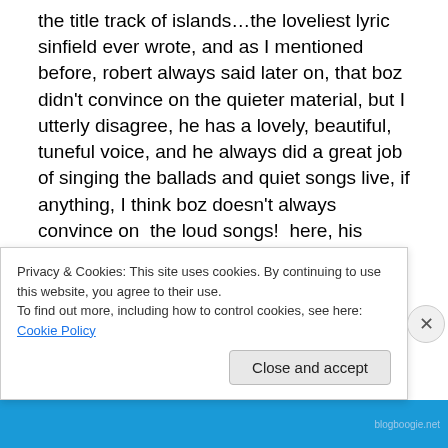the title track of islands…the loveliest lyric sinfield ever wrote, and as I mentioned before, robert always said later on, that boz didn't convince on the quieter material, but I utterly disagree, he has a lovely, beautiful, tuneful voice, and he always did a great job of singing the ballads and quiet songs live, if anything, I think boz doesn't always convince on  the loud songs!  here, his voice is so perfect, so beautiful, so hushed, and the very simple guitar arrangement on the verses is perfect – when the chorus arrives, then mel gets to play those mellotrons (which do get a bit too loud in places, but nothing could really spoil
Privacy & Cookies: This site uses cookies. By continuing to use this website, you agree to their use.
To find out more, including how to control cookies, see here: Cookie Policy
Close and accept